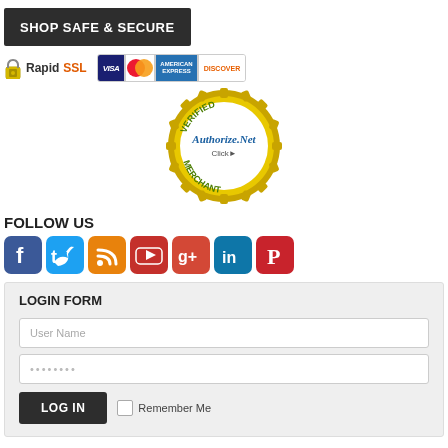SHOP SAFE & SECURE
[Figure (logo): RapidSSL logo with padlock icon and credit card logos: Visa, MasterCard, American Express, Discover]
[Figure (logo): Authorize.Net Verified Merchant seal with gold gear border, blue Authorize.Net text, and Click arrow]
FOLLOW US
[Figure (infographic): Social media icon buttons: Facebook, Twitter, RSS, YouTube, Google+, LinkedIn, Pinterest]
LOGIN FORM
User Name
••••••••
LOG IN
Remember Me